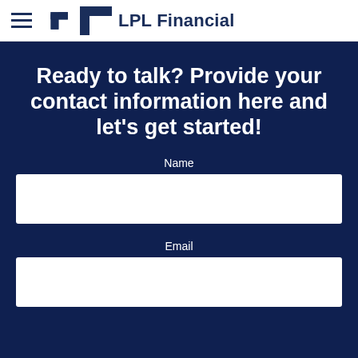LPL Financial
Ready to talk? Provide your contact information here and let's get started!
Name
Email